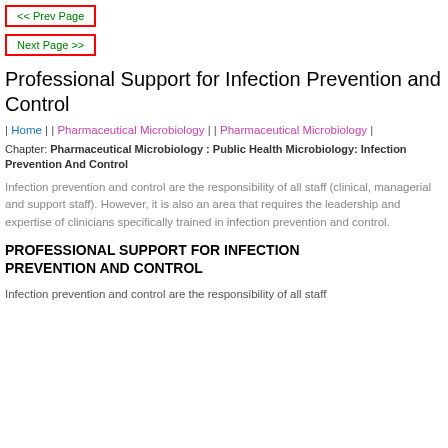<< Prev Page
Next Page >>
Professional Support for Infection Prevention and Control
| Home | | Pharmaceutical Microbiology | | Pharmaceutical Microbiology |
Chapter: Pharmaceutical Microbiology : Public Health Microbiology: Infection Prevention And Control
Infection prevention and control are the responsibility of all staff (clinical, managerial and support staff). However, it is also an area that requires the leadership and expertise of clinicians specifically trained in infection prevention and control.
PROFESSIONAL SUPPORT FOR INFECTION PREVENTION AND CONTROL
Infection prevention and control are the responsibility of all staff